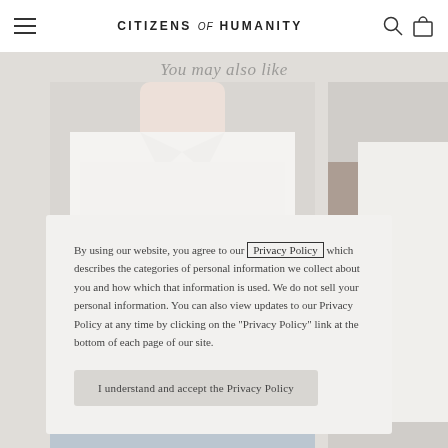Citizens of Humanity
You may also like
[Figure (photo): Person wearing white button-down shirt and denim cut-off shorts, shown from neck to lower legs against a light grey background. A second photo partially visible on the right shows a person in a white top.]
By using our website, you agree to our Privacy Policy which describes the categories of personal information we collect about you and how which that information is used. We do not sell your personal information. You can also view updates to our Privacy Policy at any time by clicking on the "Privacy Policy" link at the bottom of each page of our site.
I understand and accept the Privacy Policy